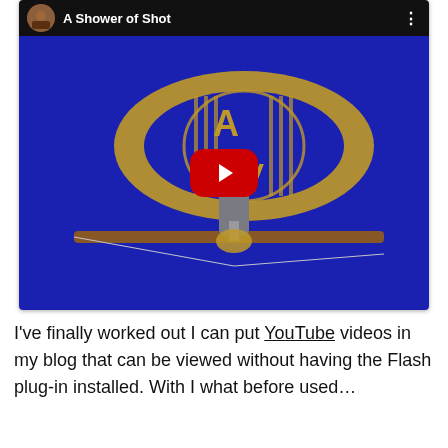[Figure (screenshot): Embedded YouTube video player showing 'A Shower of Shot' with a blue background featuring a golden eye/AV logo design with a catapult. A red YouTube play button is centered over the thumbnail. The top bar shows a channel avatar and the title 'A Shower of Shot' with a three-dot menu.]
I've finally worked out I can put YouTube videos in my blog that can be viewed without having the Flash plug-in installed. With I what before used…